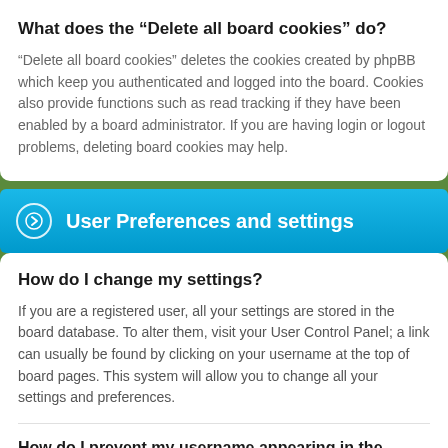What does the “Delete all board cookies” do?
“Delete all board cookies” deletes the cookies created by phpBB which keep you authenticated and logged into the board. Cookies also provide functions such as read tracking if they have been enabled by a board administrator. If you are having login or logout problems, deleting board cookies may help.
User Preferences and settings
How do I change my settings?
If you are a registered user, all your settings are stored in the board database. To alter them, visit your User Control Panel; a link can usually be found by clicking on your username at the top of board pages. This system will allow you to change all your settings and preferences.
How do I prevent my username appearing in the online user listings?
Within your User Control Panel, under “Board preferences”, you will find the option Hide your online status. Enable this option and...